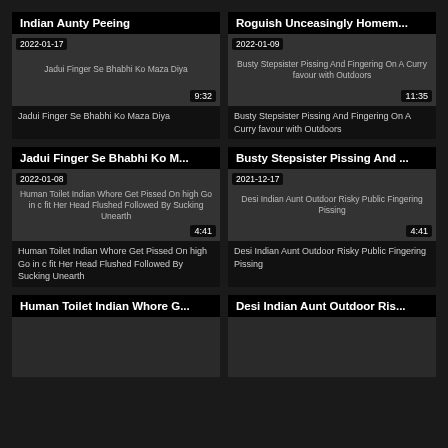Indian Aunty Peeing
[Figure (screenshot): Video thumbnail for Jadui Finger Se Bhabhi Ko Maza Diya, date 2022-01-17, duration 9:32]
Jadui Finger Se Bhabhi Ko Maza Diya
Roguish Unceasingly Homem...
[Figure (screenshot): Video thumbnail for Busty Stepsister Pissing And Fingering On A Curry favour with Outdoors, date 2022-01-09, duration 11:35]
Busty Stepsister Pissing And Fingering On A Curry favour with Outdoors
Jadui Finger Se Bhabhi Ko M...
[Figure (screenshot): Video thumbnail for Human Toilet Indian Whore Get Pissed On high Go in c fit Her Head Flushed Followed By Sucking Unearth, date 2022-01-08, duration 4:41]
Human Toilet Indian Whore Get Pissed On high Go in c fit Her Head Flushed Followed By Sucking Unearth
Busty Stepsister Pissing And ...
[Figure (screenshot): Video thumbnail for Desi Indian Aunt Outdoor Risky Public Fingering Pissing, date 2021-12-17, duration 4:41]
Desi Indian Aunt Outdoor Risky Public Fingering Pissing
Human Toilet Indian Whore G...
Desi Indian Aunt Outdoor Ris...